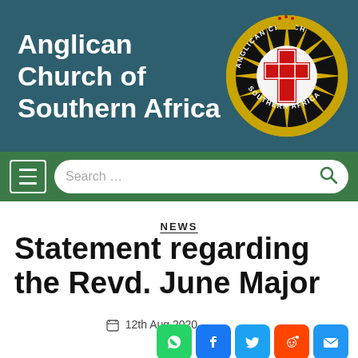Anglican Church of Southern Africa
[Figure (logo): Anglican Church of Southern Africa circular emblem/crest with gold star burst, black shield, red cross, and text reading 'Anglican Church Southern Africa' around the border, with a crown on top]
NEWS
Statement regarding the Revd. June Major
12th Aug 2020